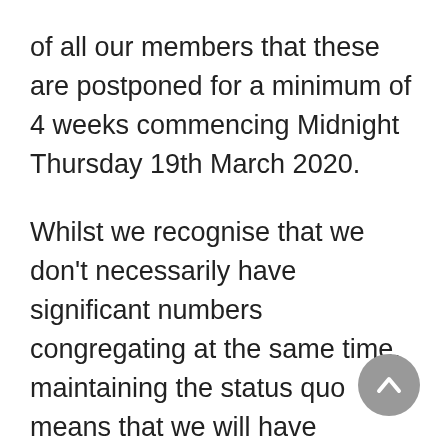of all our members that these are postponed for a minimum of 4 weeks commencing Midnight Thursday 19th March 2020.
Whilst we recognise that we don't necessarily have significant numbers congregating at the same time, maintaining the status quo means that we will have members, parents and grandparents of the community coming going at all times of the day and evening. The fact that we use / share enclosed areas means that we cannot possibly guarantee the safety of all our members and visitors without the Youth Club activities having significant containi...